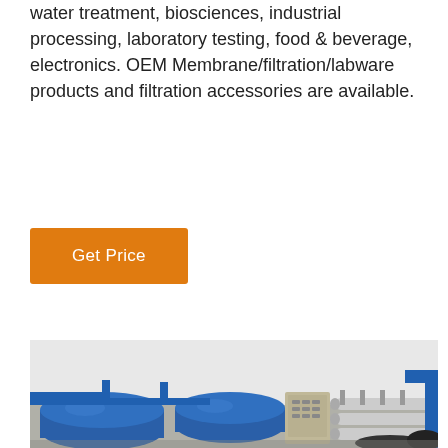water treatment, biosciences, industrial processing, laboratory testing, food & beverage, electronics. OEM Membrane/filtration/labware products and filtration accessories are available.
[Figure (other): Orange 'Get Price' button]
[Figure (photo): Industrial water treatment / reverse osmosis filtration system on a truck/platform, showing large blue cylindrical tanks, stainless steel piping, membrane filter housings, and a grey control cabinet, set outdoors against a light grey sky.]